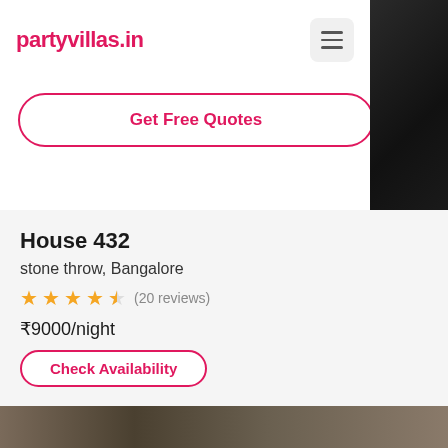partyvillas.in
Get Free Quotes
House 432
stone throw, Bangalore
★★★★½ (20 reviews)
₹9000/night
Check Availability
[Figure (photo): Dark interior photo of a room/building partially visible on the right side]
[Figure (photo): Interior photo of a room partially visible at the bottom of the page]